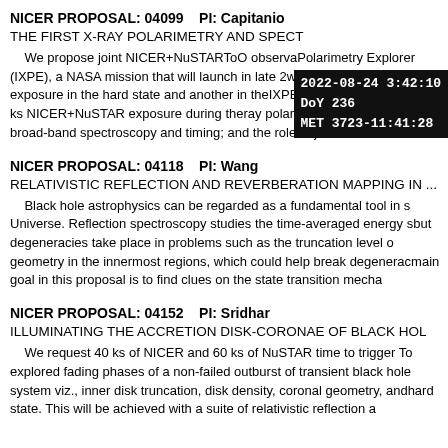NICER PROPOSAL: 04099    PI: Capitanio
THE FIRST X-RAY POLARIMETRY AND SPECT...
We propose joint NICER+NuSTARToO observations... and the role of jets in these sources.
NICER PROPOSAL: 04118    PI: Wang
RELATIVISTIC REFLECTION AND REVERBERATION MAPPING IN ...
Black hole astrophysics can be regarded as a fundamental tool in s... main goal in this proposal is to find clues on the state transition mecha...
NICER PROPOSAL: 04152    PI: Sridhar
ILLUMINATING THE ACCRETION DISK-CORONAE OF BLACK HOL...
We request 40 ks of NICER and 60 ks of NuSTAR time to trigger To... hard state. This will be achieved with a suite of relativistic reflection a...
[Figure (other): Timestamp overlay showing: 2022-08-24 3:42:10, DoY 236, MET 3723-11:41:28]